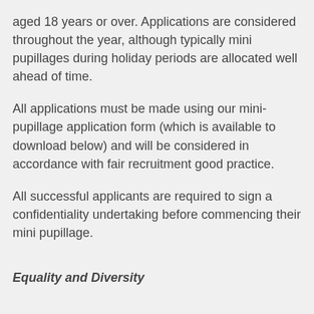aged 18 years or over. Applications are considered throughout the year, although typically mini pupillages during holiday periods are allocated well ahead of time.
All applications must be made using our mini-pupillage application form (which is available to download below) and will be considered in accordance with fair recruitment good practice.
All successful applicants are required to sign a confidentiality undertaking before commencing their mini pupillage.
Equality and Diversity
KBW aims to be an inclusive organisation where clients, members, pupils and staff are treated with respect and dignity.
All aspects of Chambers recruitment is